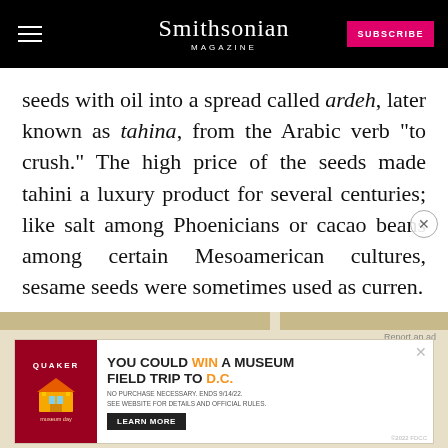Smithsonian MAGAZINE
seeds with oil into a spread called ardeh, later known as tahina, from the Arabic verb “to crush.” The high price of the seeds made tahini a luxury product for several centuries; like salt among Phoenicians or cacao beans among certain Mesoamerican cultures, sesame seeds were sometimes used as curren.
[Figure (screenshot): Advertisement banner: Quaker Museum Day promotion - 'You could win a museum field trip to D.C.' with Learn More button]